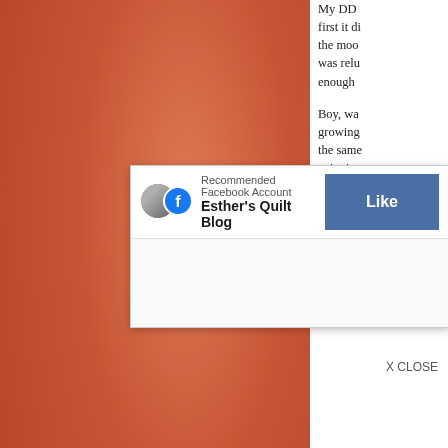[Figure (photo): Orange/terracotta textured surface, occupying the left portion of the page]
My DD... first it di... the moo... was relu... enough ...
Boy, wa... growing... the same... enjoying... chapter!... Audible... I love it.
[Figure (screenshot): Facebook recommended account popup overlay showing 'Esther's Quilt Blog' with a Like button and X CLOSE option]